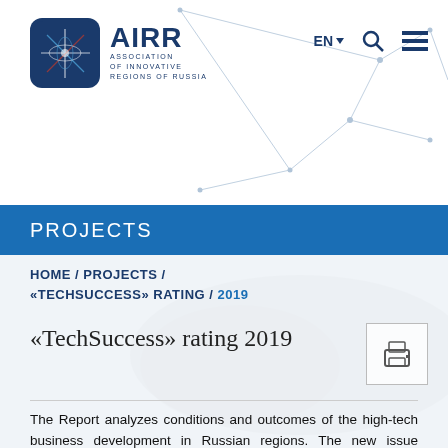AIRR Association of Innovative Regions of Russia
PROJECTS
HOME / PROJECTS / «TECHSUCCESS» RATING / 2019
«TechSuccess» rating 2019
The Report analyzes conditions and outcomes of the high-tech business development in Russian regions. The new issue presents data of the annual monitoring; several subject reviews were prepared for the first time to describe risks of the digital economy, peculiarities of the military industrial sector and high-tech support policy. Profiles of regions with major indicators of high-